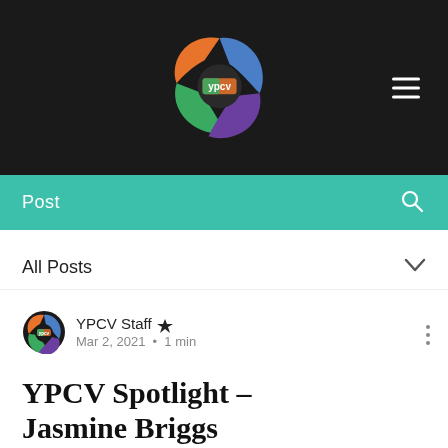[Figure (logo): YPCV colorful gear logo with orange, blue, green, and purple segments on dark background header]
Post
All Posts
YPCV Staff  Mar 2, 2021 · 1 min
YPCV Spotlight - Jasmine Briggs